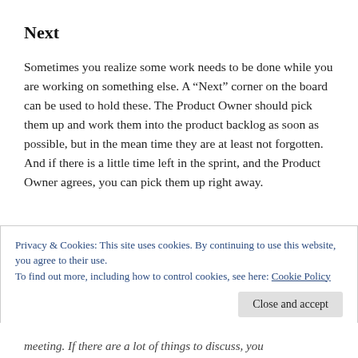Next
Sometimes you realize some work needs to be done while you are working on something else. A “Next” corner on the board can be used to hold these. The Product Owner should pick them up and work them into the product backlog as soon as possible, but in the mean time they are at least not forgotten. And if there is a little time left in the sprint, and the Product Owner agrees, you can pick them up right away.
Privacy & Cookies: This site uses cookies. By continuing to use this website, you agree to their use.
To find out more, including how to control cookies, see here: Cookie Policy
Close and accept
meeting. If there are a lot of things to discuss, you